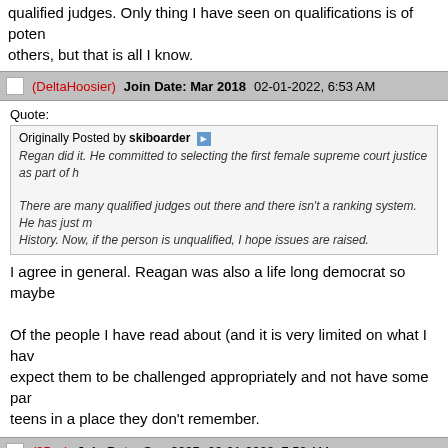qualified judges. Only thing I have seen on qualifications is of potential others, but that is all I know.
(DeltaHoosier) Join Date: Mar 2018  02-01-2022, 6:53 AM
Quote: Originally Posted by skiboarder — Regan did it. He committed to selecting the first female supreme court justice as part of h... There are many qualified judges out there and there isn't a ranking system. He has just m... History. Now, if the person is unqualified, I hope issues are raised.
I agree in general. Reagan was also a life long democrat so maybe... Of the people I have read about (and it is very limited on what I have... expect them to be challenged appropriately and not have some part... teens in a place they don't remember.
(95sn) Join Date: Sep 2005  02-01-2022, 7:53 AM
Quote: Originally Posted by DeltaHoosier — I said no such thing. I said it is not a good idea to automatically limit a choice to only 6% c... qualifications is of potential people on a short list, they have very limited experience to da...
limited experience? What is that? What is reasonable experience? On the short list, all have more experience than Justice Barrett. Im f... a parrot.
(DeltaHoosier) Join Date: Mar 2018  02-01-2022, 9:45 AM